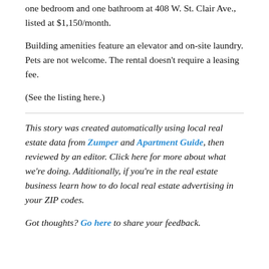one bedroom and one bathroom at 408 W. St. Clair Ave., listed at $1,150/month.
Building amenities feature an elevator and on-site laundry. Pets are not welcome. The rental doesn't require a leasing fee.
(See the listing here.)
This story was created automatically using local real estate data from Zumper and Apartment Guide, then reviewed by an editor. Click here for more about what we're doing. Additionally, if you're in the real estate business learn how to do local real estate advertising in your ZIP codes.
Got thoughts? Go here to share your feedback.